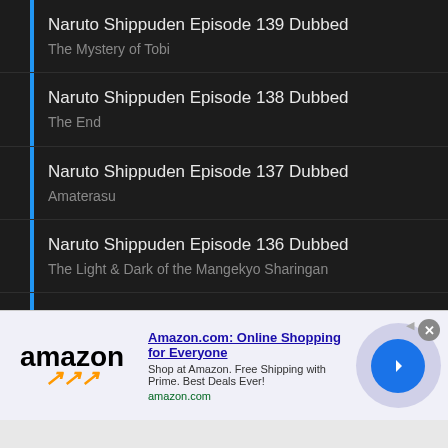Naruto Shippuden Episode 139 Dubbed
The Mystery of Tobi
Naruto Shippuden Episode 138 Dubbed
The End
Naruto Shippuden Episode 137 Dubbed
Amaterasu
Naruto Shippuden Episode 136 Dubbed
The Light & Dark of the Mangekyo Sharingan
Naruto Shippuden Episode 135 Dubbed
The Longest Moment
Naruto Shippuden Episode 134 Dubbed
[Figure (screenshot): Amazon advertisement banner with logo, title 'Amazon.com: Online Shopping for Everyone', description text, amazon.com URL, and a blue circular arrow button]